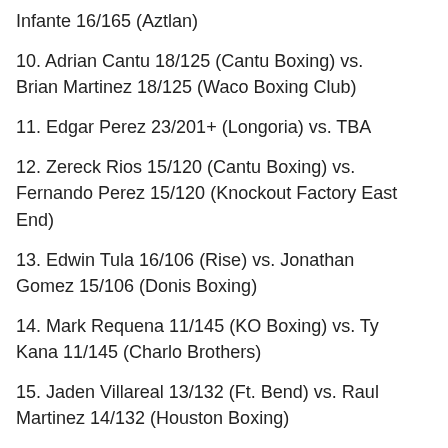Infante 16/165 (Aztlan)
10. Adrian Cantu 18/125 (Cantu Boxing) vs. Brian Martinez 18/125 (Waco Boxing Club)
11. Edgar Perez 23/201+ (Longoria) vs. TBA
12. Zereck Rios 15/120 (Cantu Boxing) vs. Fernando Perez 15/120 (Knockout Factory East End)
13. Edwin Tula 16/106 (Rise) vs. Jonathan Gomez 15/106 (Donis Boxing)
14. Mark Requena 11/145 (KO Boxing) vs. Ty Kana 11/145 (Charlo Brothers)
15. Jaden Villareal 13/132 (Ft. Bend) vs. Raul Martinez 14/132 (Houston Boxing)